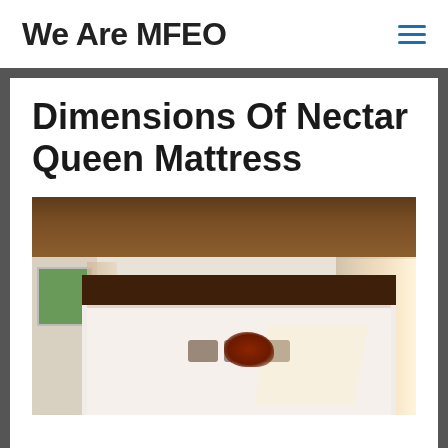We Are MFEO
Dimensions Of Nectar Queen Mattress
[Figure (photo): Interior photo of a bedroom with wooden ceiling, a large white mattress/bed on the floor with dark pillows and a decorative bird ornament, tall cylindrical woven vases on either side, curtains on the left and right windows, and natural light coming from the right window.]